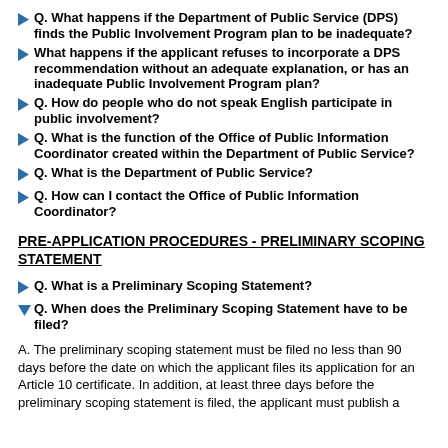Q. What happens if the Department of Public Service (DPS) finds the Public Involvement Program plan to be inadequate?
What happens if the applicant refuses to incorporate a DPS recommendation without an adequate explanation, or has an inadequate Public Involvement Program plan?
Q. How do people who do not speak English participate in public involvement?
Q. What is the function of the Office of Public Information Coordinator created within the Department of Public Service?
Q. What is the Department of Public Service?
Q. How can I contact the Office of Public Information Coordinator?
PRE-APPLICATION PROCEDURES - PRELIMINARY SCOPING STATEMENT
Q. What is a Preliminary Scoping Statement?
Q. When does the Preliminary Scoping Statement have to be filed?
A. The preliminary scoping statement must be filed no less than 90 days before the date on which the applicant files its application for an Article 10 certificate. In addition, at least three days before the preliminary scoping statement is filed, the applicant must publish a notice...